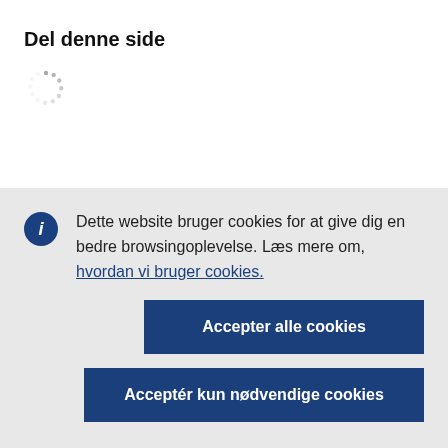Del denne side
[Figure (other): Loading spinner icon (dotted circle)]
Dette website bruger cookies for at give dig en bedre browsingoplevelse. Læs mere om, hvordan vi bruger cookies.
Accepter alle cookies
Acceptér kun nødvendige cookies